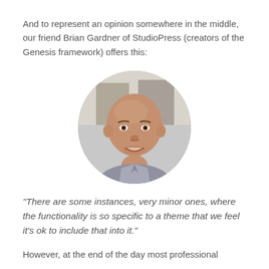And to represent an opinion somewhere in the middle, our friend Brian Gardner of StudioPress (creators of the Genesis framework) offers this:
[Figure (photo): Circular portrait photo of Brian Gardner, a bald smiling man wearing a light-colored shirt, photographed outdoors.]
"There are some instances, very minor ones, where the functionality is so specific to a theme that we feel it's ok to include that into it."
However, at the end of the day most professional